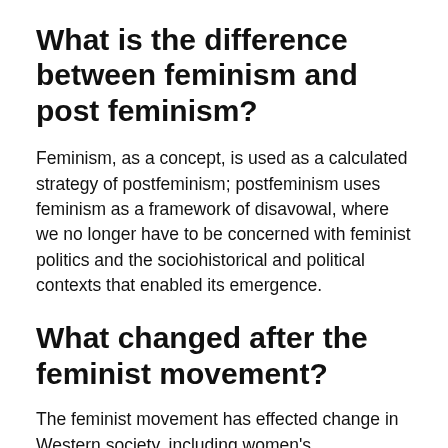What is the difference between feminism and post feminism?
Feminism, as a concept, is used as a calculated strategy of postfeminism; postfeminism uses feminism as a framework of disavowal, where we no longer have to be concerned with feminist politics and the sociohistorical and political contexts that enabled its emergence.
What changed after the feminist movement?
The feminist movement has effected change in Western society, including women's